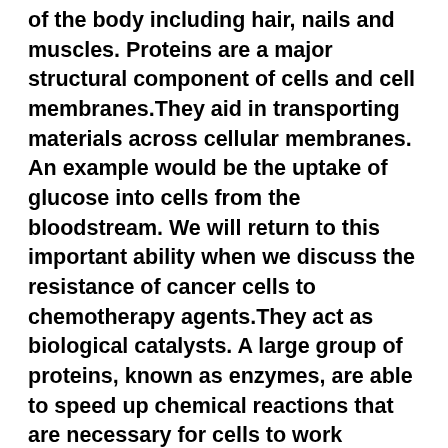They help form many of the structural features of the body including hair, nails and muscles. Proteins are a major structural component of cells and cell membranes.They aid in transporting materials across cellular membranes. An example would be the uptake of glucose into cells from the bloodstream. We will return to this important ability when we discuss the resistance of cancer cells to chemotherapy agents.They act as biological catalysts. A large group of proteins, known as enzymes, are able to speed up chemical reactions that are necessary for cells to work properly. For example, there are numerous enzymes that are involved in breaking down the food we eat and making the nutrients available.Interactions between cells are very important in maintaining the organization and function of cells and organs. Proteins are often responsible for maintaining contact between cells, attracting between cells and their local...